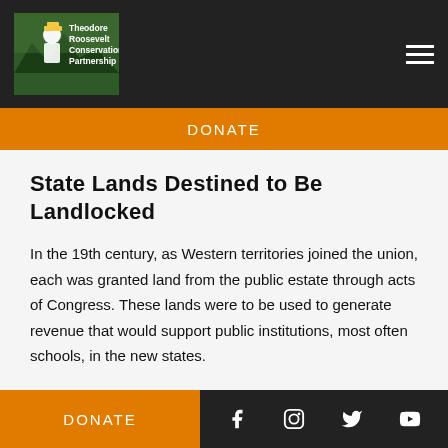[Figure (logo): Theodore Roosevelt Conservation Partnership logo with illustration of TR in hat and mountains, green background, white text]
DONATE
State Lands Destined to Be Landlocked
In the 19th century, as Western territories joined the union, each was granted land from the public estate through acts of Congress. These lands were to be used to generate revenue that would support public institutions, most often schools, in the new states.
The Public Lands Survey System was used to plat
DONATE